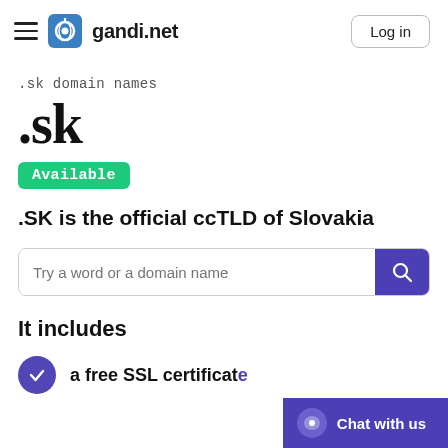gandi.net — Log in
.sk domain names
.sk
Available
.SK is the official ccTLD of Slovakia
Try a word or a domain name
It includes
a free SSL certificate